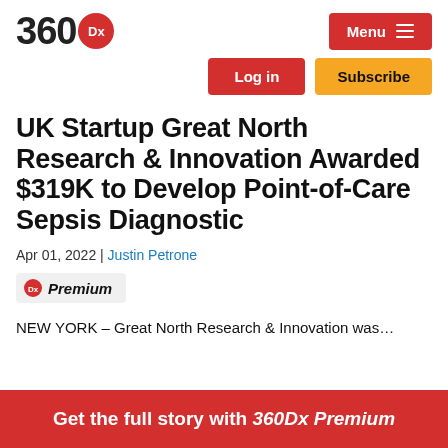[Figure (logo): 360Dx logo with red circular badge containing 'Dx' text]
Menu
Log in | Subscribe
UK Startup Great North Research & Innovation Awarded $319K to Develop Point-of-Care Sepsis Diagnostic
Apr 01, 2022 | Justin Petrone
Premium
NEW YORK – Great North Research & Innovation was…
Get the full story with 360Dx Premium